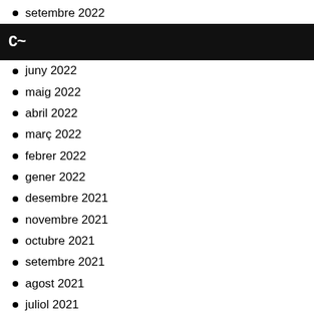setembre 2022
[Figure (other): Black navigation bar with a chevron/cursor icon (C~) in white on dark background]
juny 2022
maig 2022
abril 2022
març 2022
febrer 2022
gener 2022
desembre 2021
novembre 2021
octubre 2021
setembre 2021
agost 2021
juliol 2021
juny 2021
maig 2021
abril 2021
març 2021
febrer 2021
gener 2021
desembre 2020
novembre 2020
octubre 2020
agost 2020